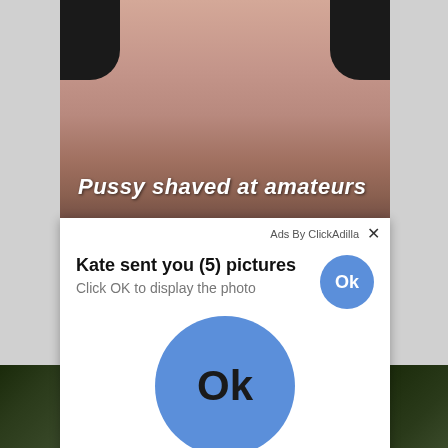[Figure (screenshot): A screenshot of a webpage showing an adult content thumbnail image with text overlay reading 'Pussy shaved at amateurs', overlaid by an ad popup from ClickAdilla saying 'Kate sent you (5) pictures - Click OK to display the photo' with a large blue Ok button in the center, and a bottom strip showing another partially visible image.]
Pussy shaved at amateurs
Ads By ClickAdilla
Kate sent you (5) pictures
Click OK to display the photo
Ok
Ok
cj4